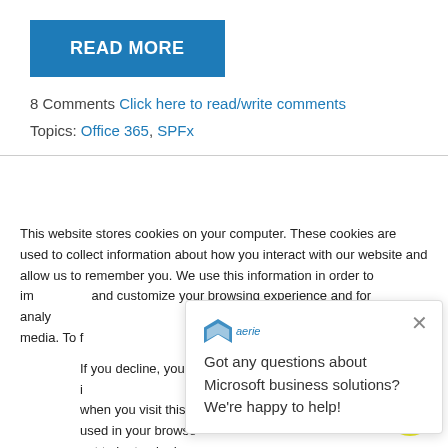[Figure (other): Blue READ MORE button]
8 Comments Click here to read/write comments
Topics: Office 365, SPFx
This website stores cookies on your computer. These cookies are used to collect information about how you interact with our website and allow us to remember you. We use this information in order to improve and customize your browsing experience and for analytics and metrics about our visitors both on this website and other media. To find out more about the cookies we use, see our Privacy Policy.
If you decline, your information won't be tracked when you visit this website. A single cookie will be used in your browser to remember your preference not to be tracked.
[Figure (other): Accept and Decline cookie buttons]
[Figure (other): Chat popup: Got any questions about Microsoft business solutions? We're happy to help!]